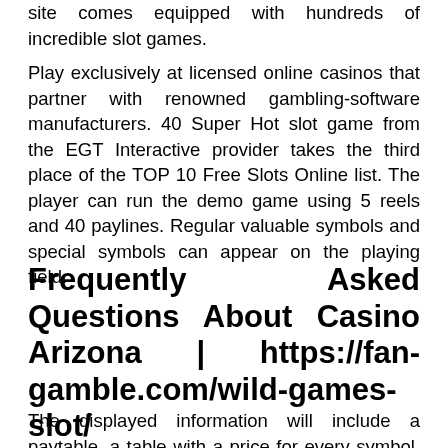site comes equipped with hundreds of incredible slot games.
Play exclusively at licensed online casinos that partner with renowned gambling-software manufacturers. 40 Super Hot slot game from the EGT Interactive provider takes the third place of the TOP 10 Free Slots Online list. The player can run the demo game using 5 reels and 40 paylines. Regular valuable symbols and special symbols can appear on the playing field.
Frequently Asked Questions About Casino Arizona | https://fan-gamble.com/wild-games-slot/
The displayed information will include a paytable, a table with a price for every symbol. Here games are